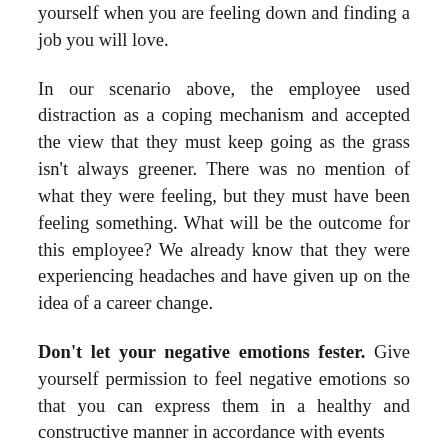yourself when you are feeling down and finding a job you will love.
In our scenario above, the employee used distraction as a coping mechanism and accepted the view that they must keep going as the grass isn't always greener. There was no mention of what they were feeling, but they must have been feeling something. What will be the outcome for this employee? We already know that they were experiencing headaches and have given up on the idea of a career change.
Don't let your negative emotions fester. Give yourself permission to feel negative emotions so that you can express them in a healthy and constructive manner in accordance with events